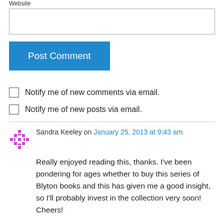Website
Post Comment
Notify me of new comments via email.
Notify me of new posts via email.
Sandra Keeley on January 25, 2013 at 9:43 am
Really enjoyed reading this, thanks. I've been pondering for ages whether to buy this series of Blyton books and this has given me a good insight, so I'll probably invest in the collection very soon! Cheers!